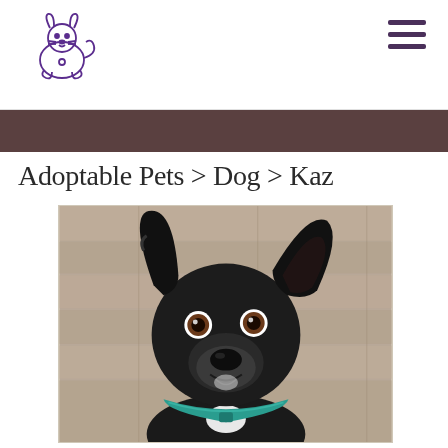Pet adoption website header with logo and hamburger menu
Adoptable Pets > Dog > Kaz
[Figure (photo): Close-up photo of a black dog named Kaz with floppy ears, brown eyes, a turquoise collar, and a small white patch on its chest, looking at the camera with mouth slightly open. Background shows wooden planks.]